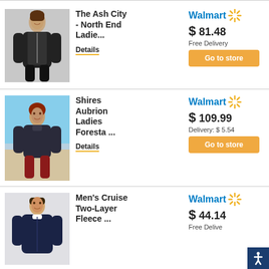[Figure (photo): Woman wearing black zip-up jacket]
The Ash City - North End Ladie...
Details
[Figure (logo): Walmart logo with spark]
$ 81.48
Free Delivery
Go to store
[Figure (photo): Woman wearing dark jacket outdoors]
Shires Aubrion Ladies Foresta ...
Details
[Figure (logo): Walmart logo with spark]
$ 109.99
Delivery: $ 5.54
Go to store
[Figure (photo): Man wearing navy fleece jacket]
Men's Cruise Two-Layer Fleece ...
[Figure (logo): Walmart logo with spark]
$ 44.14
Free Delive